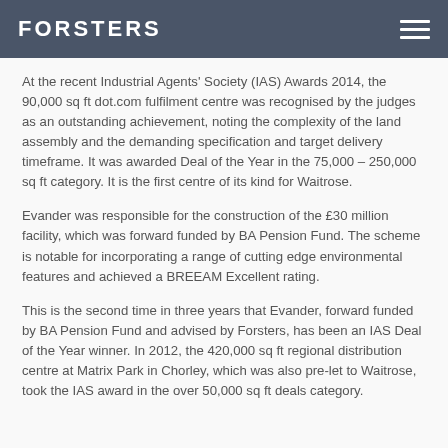FORSTERS
At the recent Industrial Agents' Society (IAS) Awards 2014, the 90,000 sq ft dot.com fulfilment centre was recognised by the judges as an outstanding achievement, noting the complexity of the land assembly and the demanding specification and target delivery timeframe. It was awarded Deal of the Year in the 75,000 – 250,000 sq ft category. It is the first centre of its kind for Waitrose.
Evander was responsible for the construction of the £30 million facility, which was forward funded by BA Pension Fund. The scheme is notable for incorporating a range of cutting edge environmental features and achieved a BREEAM Excellent rating.
This is the second time in three years that Evander, forward funded by BA Pension Fund and advised by Forsters, has been an IAS Deal of the Year winner. In 2012, the 420,000 sq ft regional distribution centre at Matrix Park in Chorley, which was also pre-let to Waitrose, took the IAS award in the over 50,000 sq ft deals category.